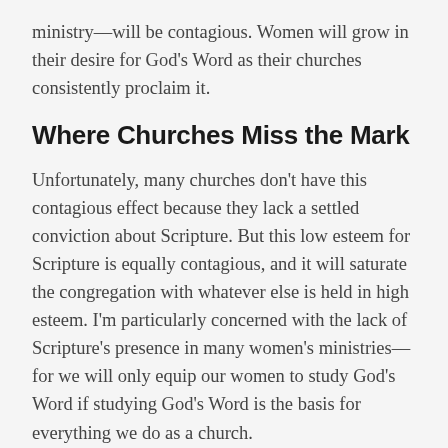ministry––will be contagious. Women will grow in their desire for God's Word as their churches consistently proclaim it.
Where Churches Miss the Mark
Unfortunately, many churches don't have this contagious effect because they lack a settled conviction about Scripture. But this low esteem for Scripture is equally contagious, and it will saturate the congregation with whatever else is held in high esteem. I'm particularly concerned with the lack of Scripture's presence in many women's ministries––for we will only equip our women to study God's Word if studying God's Word is the basis for everything we do as a church.